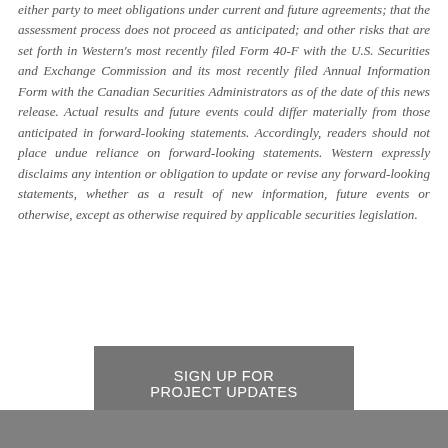either party to meet obligations under current and future agreements; that the assessment process does not proceed as anticipated; and other risks that are set forth in Western's most recently filed Form 40-F with the U.S. Securities and Exchange Commission and its most recently filed Annual Information Form with the Canadian Securities Administrators as of the date of this news release. Actual results and future events could differ materially from those anticipated in forward-looking statements. Accordingly, readers should not place undue reliance on forward-looking statements. Western expressly disclaims any intention or obligation to update or revise any forward-looking statements, whether as a result of new information, future events or otherwise, except as otherwise required by applicable securities legislation.
SIGN UP FOR PROJECT UPDATES